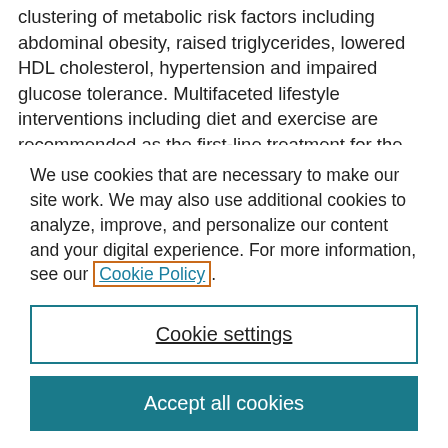clustering of metabolic risk factors including abdominal obesity, raised triglycerides, lowered HDL cholesterol, hypertension and impaired glucose tolerance. Multifaceted lifestyle interventions including diet and exercise are recommended as the first-line treatment for the metabolic syndrome. Objective: To investigate the effects of lifestyle interventions that include both diet interventions and supervised exercise on outcomes for people
We use cookies that are necessary to make our site work. We may also use additional cookies to analyze, improve, and personalize our content and your digital experience. For more information, see our Cookie Policy.
Cookie settings
Accept all cookies